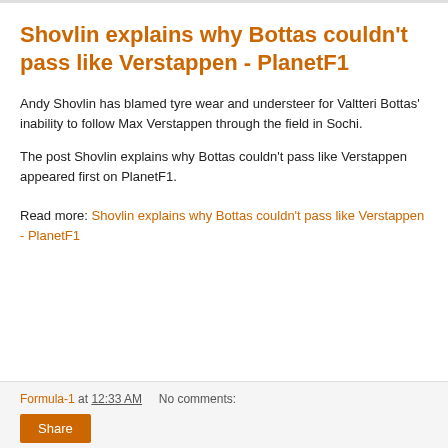Shovlin explains why Bottas couldn't pass like Verstappen - PlanetF1
Andy Shovlin has blamed tyre wear and understeer for Valtteri Bottas' inability to follow Max Verstappen through the field in Sochi.
The post Shovlin explains why Bottas couldn't pass like Verstappen appeared first on PlanetF1.
Read more: Shovlin explains why Bottas couldn't pass like Verstappen - PlanetF1
Formula-1 at 12:33 AM   No comments:   Share